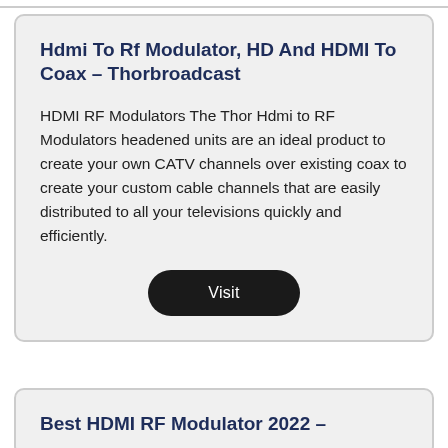Hdmi To Rf Modulator, HD And HDMI To Coax – Thorbroadcast
HDMI RF Modulators The Thor Hdmi to RF Modulators headened units are an ideal product to create your own CATV channels over existing coax to create your custom cable channels that are easily distributed to all your televisions quickly and efficiently.
Visit
Best HDMI RF Modulator 2022 –